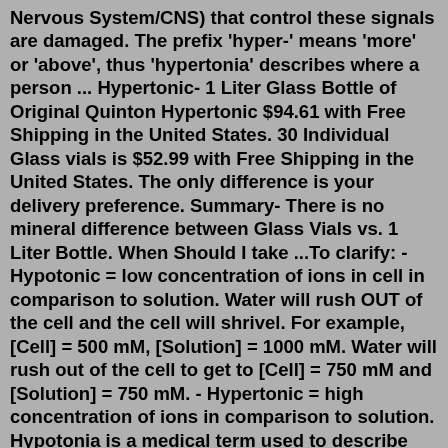Nervous System/CNS) that control these signals are damaged. The prefix 'hyper-' means 'more' or 'above', thus 'hypertonia' describes where a person ... Hypertonic- 1 Liter Glass Bottle of Original Quinton Hypertonic $94.61 with Free Shipping in the United States. 30 Individual Glass vials is $52.99 with Free Shipping in the United States. The only difference is your delivery preference. Summary- There is no mineral difference between Glass Vials vs. 1 Liter Bottle. When Should I take ...To clarify: - Hypotonic = low concentration of ions in cell in comparison to solution. Water will rush OUT of the cell and the cell will shrivel. For example, [Cell] = 500 mM, [Solution] = 1000 mM. Water will rush out of the cell to get to [Cell] = 750 mM and [Solution] = 750 mM. - Hypertonic = high concentration of ions in comparison to solution. Hypotonia is a medical term used to describe decreased muscle tone. Normally, even when relaxed, muscles have a very small amount of contraction that gives them a springy feel and provides some resistance to passive movement. It is